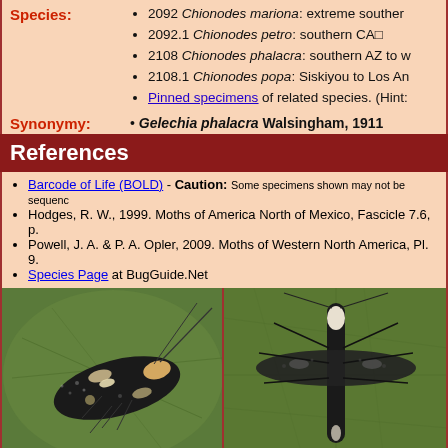2092 Chionodes mariona: extreme souther...
2092.1 Chionodes petro: southern CA□
2108 Chionodes phalacra: southern AZ to w...
2108.1 Chionodes popa: Siskiyou to Los An...
Pinned specimens of related species. (Hint:...
Synonymy: • Gelechia phalacra Walsingham, 1911
References
Barcode of Life (BOLD) - Caution: Some specimens shown may not be sequenced...
Hodges, R. W., 1999. Moths of America North of Mexico, Fascicle 7.6, p....
Powell, J. A. & P. A. Opler, 2009. Moths of Western North America, Pl. 9....
Species Page at BugGuide.Net
[Figure (photo): Photo of Chionodes phalacra moth resting on green leaf, dorsal view showing dark wings with white spots]
[Figure (photo): Photo of Chionodes phalacra moth pinned specimen, top-down view on green leaf surface showing dark body with white markings and spread legs]